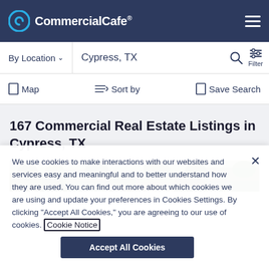CommercialCafe®
By Location   Cypress, TX
Map   Sort by   Save Search
167 Commercial Real Estate Listings in Cypress, TX
[Figure (photo): Aerial photo strip of Cypress TX commercial real estate area showing trees and buildings]
We use cookies to make interactions with our websites and services easy and meaningful and to better understand how they are used. You can find out more about which cookies we are using and update your preferences in Cookies Settings. By clicking "Accept All Cookies," you are agreeing to our use of cookies. Cookie Notice